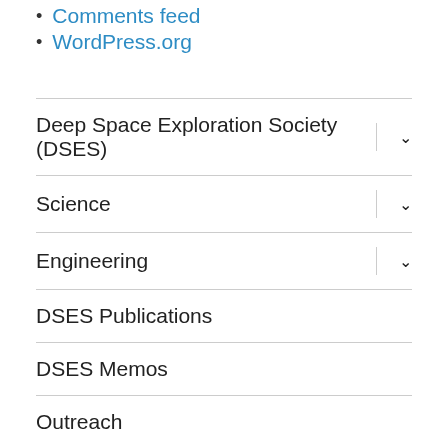Comments feed
WordPress.org
Deep Space Exploration Society (DSES)
Science
Engineering
DSES Publications
DSES Memos
Outreach
Education